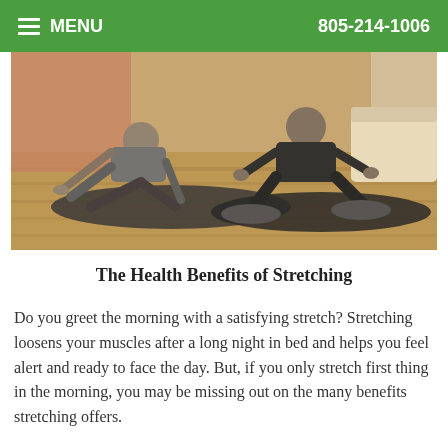MENU   805-214-1006
[Figure (photo): Two people doing stretching exercises on yoga mats on a wooden floor indoors, with a couch visible in the background.]
The Health Benefits of Stretching
Do you greet the morning with a satisfying stretch? Stretching loosens your muscles after a long night in bed and helps you feel alert and ready to face the day. But, if you only stretch first thing in the morning, you may be missing out on the many benefits stretching offers.